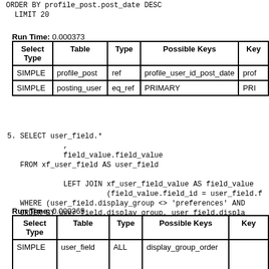ORDER BY profile_post.post_date DESC
  LIMIT 20
Run Time: 0.000373
| Select Type | Table | Type | Possible Keys | Key |
| --- | --- | --- | --- | --- |
| SIMPLE | profile_post | ref | profile_user_id_post_date | prof… |
| SIMPLE | posting_user | eq_ref | PRIMARY | PRI… |
5. SELECT user_field.*
             ,
             field_value.field_value
   FROM xf_user_field AS user_field

             LEFT JOIN xf_user_field_value AS field_value
                       (field_value.field_id = user_field.f
   WHERE (user_field.display_group <> 'preferences' AN
   ORDER BY user_field.display_group, user_field.displ
Run Time: 0.000365
| Select Type | Table | Type | Possible Keys | Key |
| --- | --- | --- | --- | --- |
| SIMPLE | user_field | ALL | display_group_order |  |